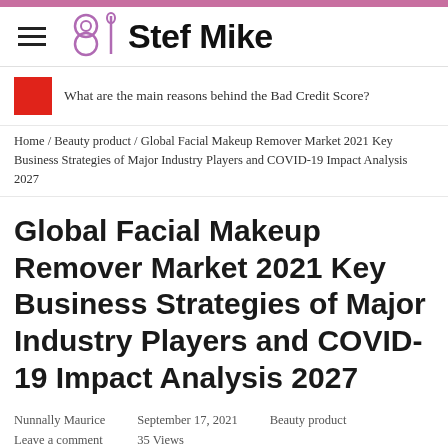Stef Mike
What are the main reasons behind the Bad Credit Score?
Home / Beauty product / Global Facial Makeup Remover Market 2021 Key Business Strategies of Major Industry Players and COVID-19 Impact Analysis 2027
Global Facial Makeup Remover Market 2021 Key Business Strategies of Major Industry Players and COVID-19 Impact Analysis 2027
Nunnally Maurice
Leave a comment
September 17, 2021
35 Views
Beauty product